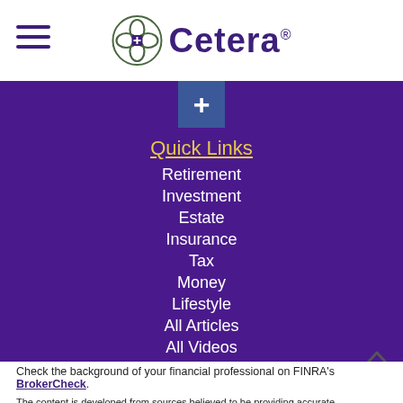[Figure (logo): Cetera financial logo with circular flower icon and Cetera wordmark in dark purple]
[Figure (illustration): Facebook share/plus button icon in blue square]
Quick Links
Retirement
Investment
Estate
Insurance
Tax
Money
Lifestyle
All Articles
All Videos
All Calculators
All Presentations
Check the background of your financial professional on FINRA's BrokerCheck.
The content is developed from sources believed to be providing accurate information. The information in this material is not intended as tax or legal advice. Please consult legal or tax professionals for specific information regarding your